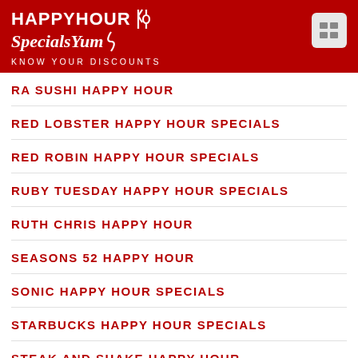HAPPYHOUR SpecialsYum - KNOW YOUR DISCOUNTS
RA SUSHI HAPPY HOUR
RED LOBSTER HAPPY HOUR SPECIALS
RED ROBIN HAPPY HOUR SPECIALS
RUBY TUESDAY HAPPY HOUR SPECIALS
RUTH CHRIS HAPPY HOUR
SEASONS 52 HAPPY HOUR
SONIC HAPPY HOUR SPECIALS
STARBUCKS HAPPY HOUR SPECIALS
STEAK AND SHAKE HAPPY HOUR